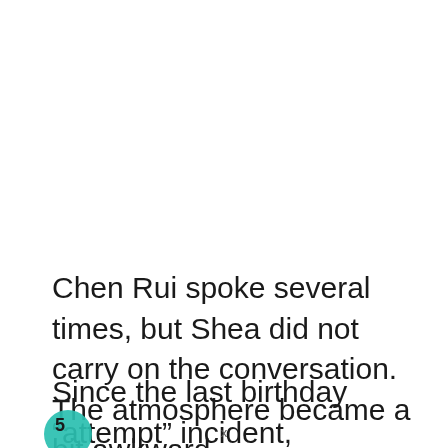Chen Rui spoke several times, but Shea did not carry on the conversation. The atmosphere became a bit awkward.
Since the last birthday “attempt” incident, though “Aguila” was announced as her
x